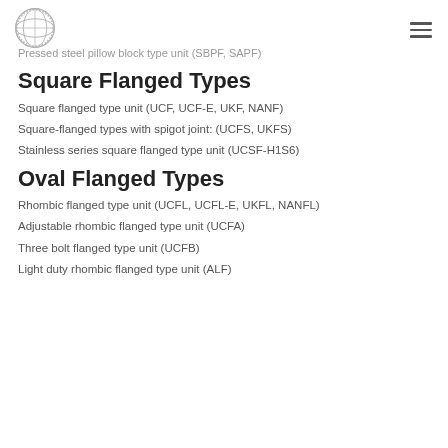[logo] [hamburger menu]
Pressed steel pillow block type unit (SBPF, SAPF)
Square Flanged Types
Square flanged type unit (UCF, UCF-E, UKF, NANF)
Square-flanged types with spigot joint: (UCFS, UKFS)
Stainless series square flanged type unit (UCSF-H1S6)
Oval Flanged Types
Rhombic flanged type unit (UCFL, UCFL-E, UKFL, NANFL)
Adjustable rhombic flanged type unit (UCFA)
Three bolt flanged type unit (UCFB)
Light duty rhombic flanged type unit (ALF)